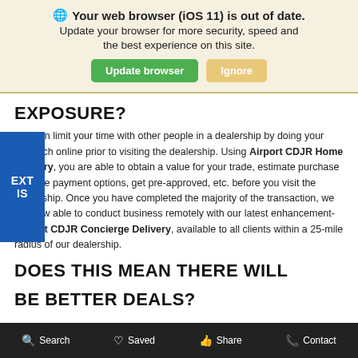[Figure (screenshot): Browser update notification banner with globe icon, bold warning text, update browser (green) and ignore (tan) buttons]
EXPOSURE?
You can limit your time with other people in a dealership by doing your research online prior to visiting the dealership. Using Airport CDJR Home Delivery, you are able to obtain a value for your trade, estimate purchase or lease payment options, get pre-approved, etc. before you visit the dealership. Once you have completed the majority of the transaction, we are now able to conduct business remotely with our latest enhancement- Airport CDJR Concierge Delivery, available to all clients within a 25-mile radius of our dealership.
DOES THIS MEAN THERE WILL BE BETTER DEALS?
Search   Saved   Share   Contact